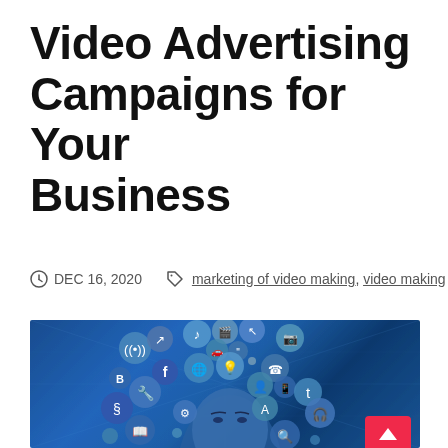Video Advertising Campaigns for Your Business
DEC 16, 2020  marketing of video making, video making
[Figure (photo): Blue digital background with a woman's face surrounded by floating social media and technology icon bubbles (music note, film, cursor, WiFi, Facebook, globe, lightbulb, camera, ear, person, phone, letter t, wrench, paragraph, book, search, headphones icons). A pink/red scroll-to-top button is visible in the bottom right corner.]